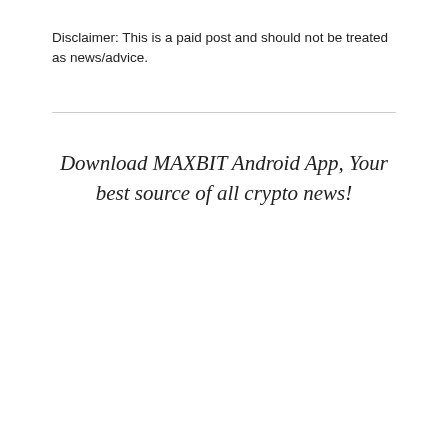Disclaimer: This is a paid post and should not be treated as news/advice.
Download MAXBIT Android App, Your best source of all crypto news!